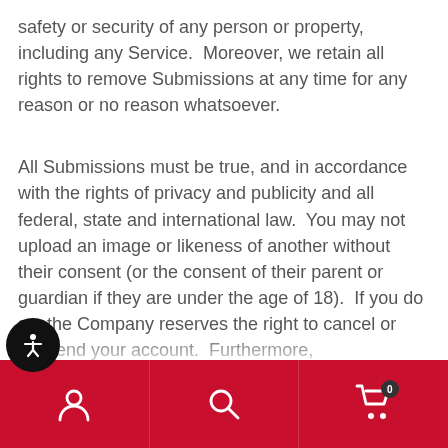safety or security of any person or property, including any Service.  Moreover, we retain all rights to remove Submissions at any time for any reason or no reason whatsoever.
All Submissions must be true, and in accordance with the rights of privacy and publicity and all federal, state and international law.  You may not upload an image or likeness of another without their consent (or the consent of their parent or guardian if they are under the age of 18).  If you do so, the Company reserves the right to cancel or suspend your account.  Furthermore, the Company reserves the right to...
[Figure (other): Accessibility button (circular black button with person/accessibility icon)]
Navigation bar with user account icon, search icon, and shopping cart icon (with badge showing 0). Background is red.